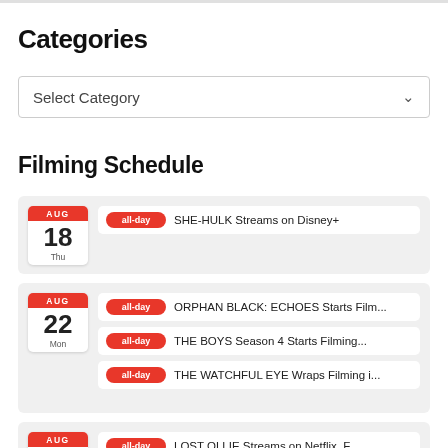Categories
Select Category
Filming Schedule
AUG 18 Thu — all-day — SHE-HULK Streams on Disney+
AUG 22 Mon — all-day — ORPHAN BLACK: ECHOES Starts Film...
AUG 22 Mon — all-day — THE BOYS Season 4 Starts Filming...
AUG 22 Mon — all-day — THE WATCHFUL EYE Wraps Filming i...
AUG 24 Wed — all-day — LOST OLLIE Streams on Netflix. F...